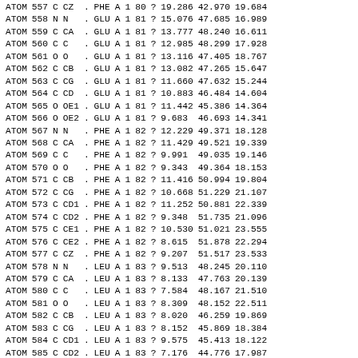| type | serial | el | name | alt | res | ch | sym | seq | q | x | y | z |
| --- | --- | --- | --- | --- | --- | --- | --- | --- | --- | --- | --- | --- |
| ATOM | 557 | C | CZ | . | PHE | A | 1 | 80 | ? | 19.286 | 42.970 | 19.684 |
| ATOM | 558 | N | N | . | GLU | A | 1 | 81 | ? | 15.076 | 47.685 | 16.989 |
| ATOM | 559 | C | CA | . | GLU | A | 1 | 81 | ? | 13.777 | 48.240 | 16.611 |
| ATOM | 560 | C | C | . | GLU | A | 1 | 81 | ? | 12.985 | 48.299 | 17.928 |
| ATOM | 561 | O | O | . | GLU | A | 1 | 81 | ? | 13.116 | 47.405 | 18.767 |
| ATOM | 562 | C | CB | . | GLU | A | 1 | 81 | ? | 13.082 | 47.265 | 15.647 |
| ATOM | 563 | C | CG | . | GLU | A | 1 | 81 | ? | 11.660 | 47.632 | 15.244 |
| ATOM | 564 | C | CD | . | GLU | A | 1 | 81 | ? | 10.883 | 46.484 | 14.604 |
| ATOM | 565 | O | OE1 | . | GLU | A | 1 | 81 | ? | 11.442 | 45.386 | 14.364 |
| ATOM | 566 | O | OE2 | . | GLU | A | 1 | 81 | ? | 9.683 | 46.693 | 14.341 |
| ATOM | 567 | N | N | . | PHE | A | 1 | 82 | ? | 12.229 | 49.371 | 18.128 |
| ATOM | 568 | C | CA | . | PHE | A | 1 | 82 | ? | 11.429 | 49.521 | 19.339 |
| ATOM | 569 | C | C | . | PHE | A | 1 | 82 | ? | 9.991 | 49.035 | 19.146 |
| ATOM | 570 | O | O | . | PHE | A | 1 | 82 | ? | 9.343 | 49.364 | 18.153 |
| ATOM | 571 | C | CB | . | PHE | A | 1 | 82 | ? | 11.416 | 50.994 | 19.804 |
| ATOM | 572 | C | CG | . | PHE | A | 1 | 82 | ? | 10.668 | 51.229 | 21.107 |
| ATOM | 573 | C | CD1 | . | PHE | A | 1 | 82 | ? | 11.252 | 50.881 | 22.339 |
| ATOM | 574 | C | CD2 | . | PHE | A | 1 | 82 | ? | 9.348 | 51.735 | 21.096 |
| ATOM | 575 | C | CE1 | . | PHE | A | 1 | 82 | ? | 10.530 | 51.021 | 23.555 |
| ATOM | 576 | C | CE2 | . | PHE | A | 1 | 82 | ? | 8.615 | 51.878 | 22.294 |
| ATOM | 577 | C | CZ | . | PHE | A | 1 | 82 | ? | 9.207 | 51.517 | 23.533 |
| ATOM | 578 | N | N | . | LEU | A | 1 | 83 | ? | 9.513 | 48.245 | 20.110 |
| ATOM | 579 | C | CA | . | LEU | A | 1 | 83 | ? | 8.133 | 47.763 | 20.139 |
| ATOM | 580 | C | C | . | LEU | A | 1 | 83 | ? | 7.584 | 48.167 | 21.510 |
| ATOM | 581 | O | O | . | LEU | A | 1 | 83 | ? | 8.309 | 48.152 | 22.511 |
| ATOM | 582 | C | CB | . | LEU | A | 1 | 83 | ? | 8.020 | 46.259 | 19.869 |
| ATOM | 583 | C | CG | . | LEU | A | 1 | 83 | ? | 8.152 | 45.869 | 18.384 |
| ATOM | 584 | C | CD1 | . | LEU | A | 1 | 83 | ? | 9.575 | 45.413 | 18.122 |
| ATOM | 585 | C | CD2 | . | LEU | A | 1 | 83 | ? | 7.176 | 44.776 | 17.987 |
| ATOM | 586 | N | N | . | HIS | A | 1 | 84 | ? | 6.307 | 48.537 | 21.545 |